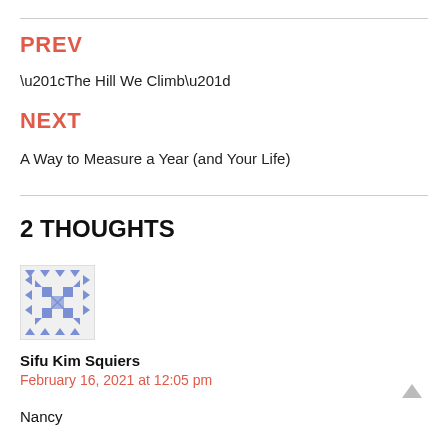PREV
“The Hill We Climb”
NEXT
A Way to Measure a Year (and Your Life)
2 THOUGHTS
[Figure (illustration): Blue geometric pattern avatar/gravatar image]
Sifu Kim Squiers
February 16, 2021 at 12:05 pm
Nancy